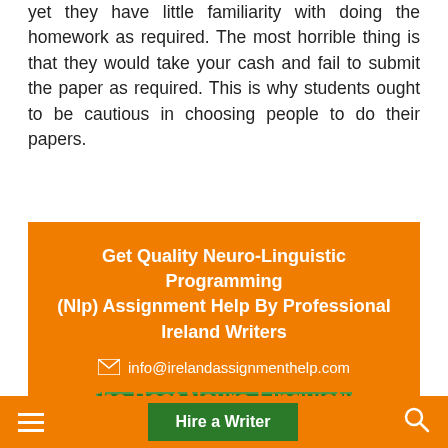yet they have little familiarity with doing the homework as required. The most horrible thing is that they would take your cash and fail to submit the paper as required. This is why students ought to be cautious in choosing people to do their papers.
[Figure (infographic): Orange promotional box with heading 'Get Quality Neuro-Linguistic Programming (Nlp) Assignment Help By Professional Ireland Writers', email 'info@irelandassignmenthelp.com', and a green 'Write My Assignment' button.]
The Best Neuro-Linguistic
≡  Hire a Writer  🔍